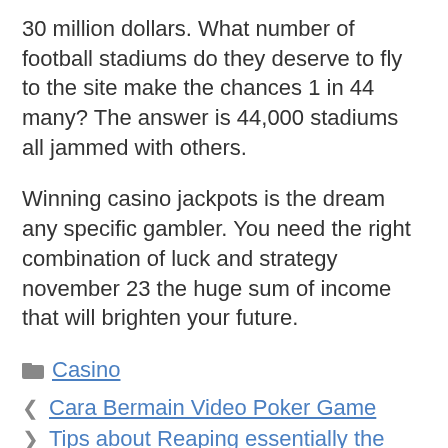30 million dollars. What number of football stadiums do they deserve to fly to the site make the chances 1 in 44 many? The answer is 44,000 stadiums all jammed with others.
Winning casino jackpots is the dream any specific gambler. You need the right combination of luck and strategy november 23 the huge sum of income that will brighten your future.
Casino
Cara Bermain Video Poker Game
Tips about Reaping essentially the most From On the net Casinos